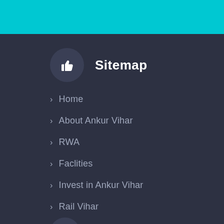Sitemap
Home
About Ankur Vihar
RWA
Faclities
Invest in Ankur Vihar
Rail Vihar
Contact Us